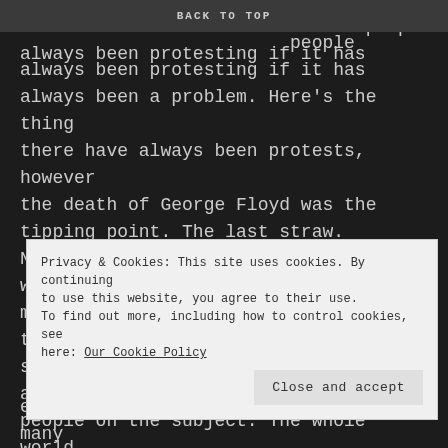BACK TO TOP
how. They are wondering why haven't people always been protesting if it has always been a problem. Here's the thing there have always been protests, however the death of George Floyd was the tipping point. The last straw. Nowadays we also have the power of social media to help us. Social media helps us spread awareness and it can help educated people on the subject. The whole world saw the graphic videos and it shocked them.
Privacy & Cookies: This site uses cookies. By continuing to use this website, you agree to their use.
To find out more, including how to control cookies, see here: Our Cookie Policy

Close and accept
employer pick? The white person. In many